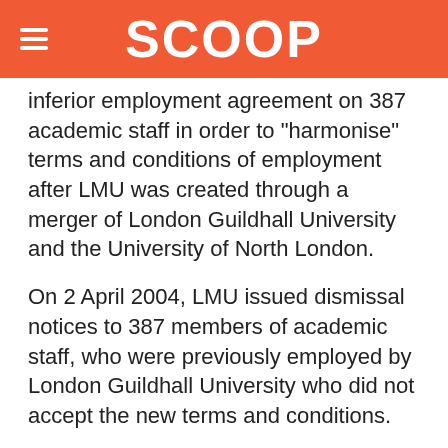SCOOP
inferior employment agreement on 387 academic staff in order to “harmonise” terms and conditions of employment after LMU was created through a merger of London Guildhall University and the University of North London.
On 2 April 2004, LMU issued dismissal notices to 387 members of academic staff, who were previously employed by London Guildhall University who did not accept the new terms and conditions.
The row sparked a sixteen-month dispute between NATFHE and the University.
***********************************************************************
AUS Tertiary Update is compiled weekly on Thursdays and distributed freely to members of the Association of University Staff and others. Back issues are available